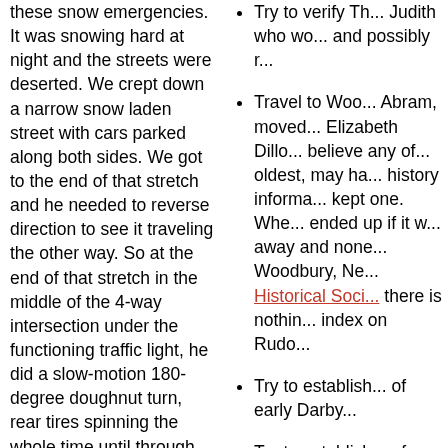these snow emergencies. It was snowing hard at night and the streets were deserted. We crept down a narrow snow laden street with cars parked along both sides. We got to the end of that stretch and he needed to reverse direction to see it traveling the other way. So at the end of that stretch in the middle of the 4-way intersection under the functioning traffic light, he did a slow-motion 180-degree doughnut turn, rear tires spinning the whole time until through the 180 degrees, and then slowly crept back up the street the other way. Casual and under control. I asked about the doughnut turn and he said 'I do these all through every storm to get around.'
I remember in one of these snow storms, a particular City Council member who was especially unpleasant to him at many Monday night City Council meetings and who was unaccepting of the snow emergency parking in front of his house, had left his personal car illegally parked in front of his house during the storm. Robert
Try to verify Th... Judith who wo... and possibly r...
Travel to Woo... Abram, moved... Elizabeth Dillo... believe any of... oldest, may ha... history informa... kept one. Whe... ended up if it w... away and non... Woodbury, Ne... Historical Soci... there is nothin... index on Rudo...
Try to establish... of early Darby...
Try to establish... of Head of Elk... Rudolph/Rudo...